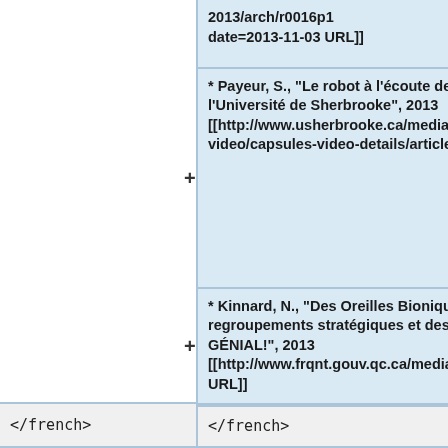2013/arch/r0016p1 date=2013-11-03 URL]]
* Payeur, S., "Le robot à l'écoute des humains," "Nouvelles de l'Université de Sherbrooke", 2013 [[http://www.usherbrooke.ca/medias/nouvelles/capsules-video/capsules-video-details/article/23166/l URL]]
* Kinnard, N., "Des Oreilles Bioniques," "Bulletin électronique des regroupements stratégiques et des projets de recherche en équipe GÉNIAL!", 2013 [[http://www.frqnt.gouv.qc.ca/medias/bulletin/genial/2013/genial_43.html URL]]
</french>
</french>